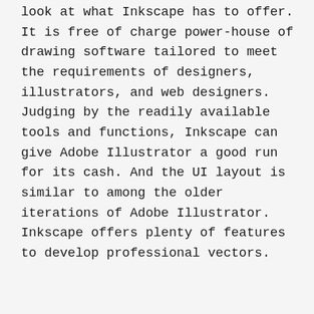look at what Inkscape has to offer. It is free of charge power-house of drawing software tailored to meet the requirements of designers, illustrators, and web designers. Judging by the readily available tools and functions, Inkscape can give Adobe Illustrator a good run for its cash. And the UI layout is similar to among the older iterations of Adobe Illustrator. Inkscape offers plenty of features to develop professional vectors.